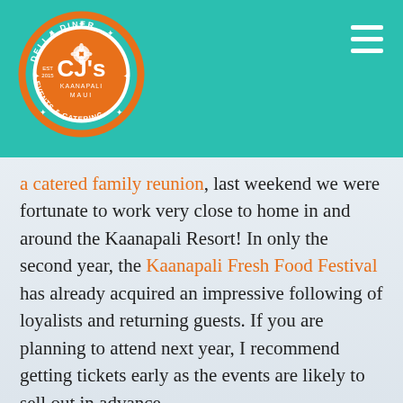[Figure (logo): CJ's Deli & Diner Kaanapali Maui Events & Catering circular orange logo with white text and star/flower decorations]
a catered family reunion, last weekend we were fortunate to work very close to home in and around the Kaanapali Resort! In only the second year, the Kaanapali Fresh Food Festival has already acquired an impressive following of loyalists and returning guests. If you are planning to attend next year, I recommend getting tickets early as the events are likely to sell out in advance.
I appreciate the opportunity to participate in Kaanapali Fresh as it was exciting to make new friends and get re-acquainted with friends from the past. Not only did the